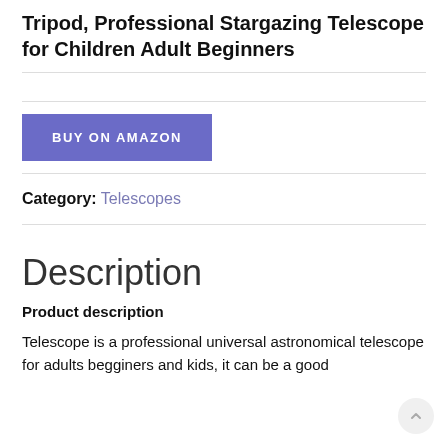Tripod, Professional Stargazing Telescope for Children Adult Beginners
BUY ON AMAZON
Category: Telescopes
Description
Product description
Telescope is a professional universal astronomical telescope for adults begginers and kids, it can be a good